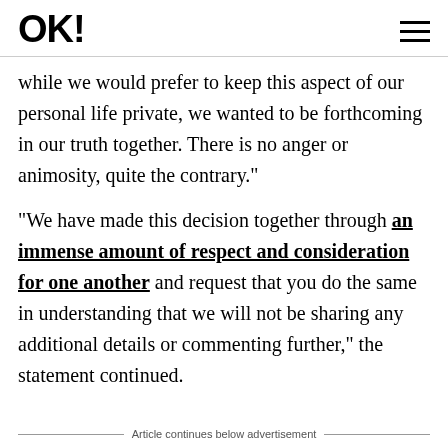OK!
while we would prefer to keep this aspect of our personal life private, we wanted to be forthcoming in our truth together. There is no anger or animosity, quite the contrary."
"We have made this decision together through an immense amount of respect and consideration for one another and request that you do the same in understanding that we will not be sharing any additional details or commenting further," the statement continued.
Article continues below advertisement